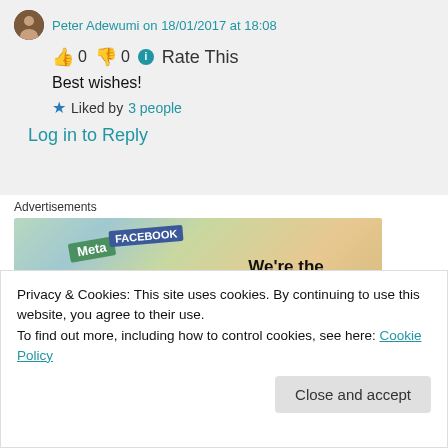👍 0 👎 0 ℹ Rate This
Best wishes!
★ Liked by 3 people
Log in to Reply
Advertisements
[Figure (photo): Advertisement image showing social media brand cards with text 'We're the WordPress CMS']
Privacy & Cookies: This site uses cookies. By continuing to use this website, you agree to their use.
To find out more, including how to control cookies, see here: Cookie Policy
Close and accept